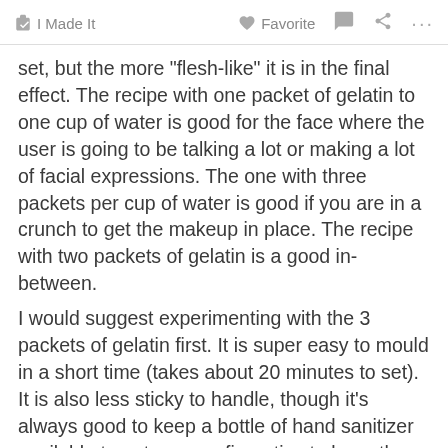I Made It   Favorite   ...
set, but the more "flesh-like" it is in the final effect. The recipe with one packet of gelatin to one cup of water is good for the face where the user is going to be talking a lot or making a lot of facial expressions. The one with three packets per cup of water is good if you are in a crunch to get the makeup in place. The recipe with two packets of gelatin is a good in-between.
I would suggest experimenting with the 3 packets of gelatin first. It is super easy to mould in a short time (takes about 20 minutes to set). It is also less sticky to handle, though it's always good to keep a bottle of hand sanitizer available to put on your fingertips to keep the fauxtex from sticking where you don't want it to.